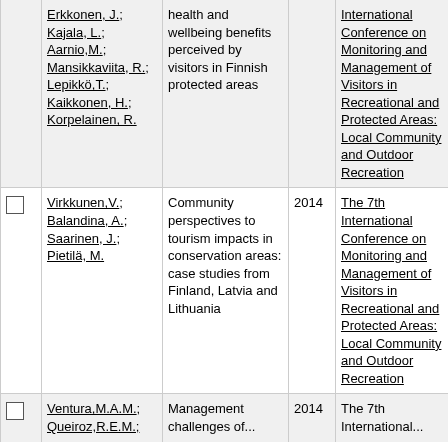|  | Authors | Title | Year | Journal/Book | Type |
| --- | --- | --- | --- | --- | --- |
|  | Erkkonen, J.; Kajala, L.; Aarnio,M.; Mansikkaviita, R.; Lepikkö,T.; Kaikkonen, H.; Korpelainen, R. | health and wellbeing benefits perceived by visitors in Finnish protected areas |  | International Conference on Monitoring and Management of Visitors in Recreational and Protected Areas: Local Community and Outdoor Recreation | Proce... |
| ☐ | Virkkunen,V.; Balandina, A.; Saarinen, J.; Pietilä, M. | Community perspectives to tourism impacts in conservation areas: case studies from Finland, Latvia and Lithuania | 2014 | The 7th International Conference on Monitoring and Management of Visitors in Recreational and Protected Areas: Local Community and Outdoor Recreation | MMV Proce... |
| ☐ | Ventura,M.A.M.; Queiroz,R.E.M.; | Management challenges of... | 2014 | The 7th International... | MMV Proce... |